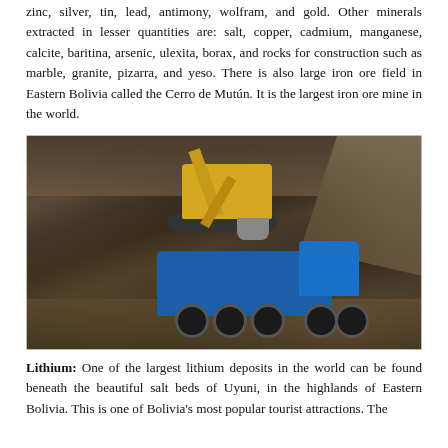zinc, silver, tin, lead, antimony, wolfram, and gold. Other minerals extracted in lesser quantities are: salt, copper, cadmium, manganese, calcite, baritina, arsenic, ulexita, borax, and rocks for construction such as marble, granite, pizarra, and yeso. There is also large iron ore field in Eastern Bolivia called the Cerro de Mutún. It is the largest iron ore mine in the world.
[Figure (photo): A large yellow excavator loading ore into a blue dump truck at an open-pit mine. Rocky terrain and excavated earth are visible in the background.]
Lithium: One of the largest lithium deposits in the world can be found beneath the beautiful salt beds of Uyuni, in the highlands of Eastern Bolivia. This is one of Bolivia's most popular tourist attractions. The